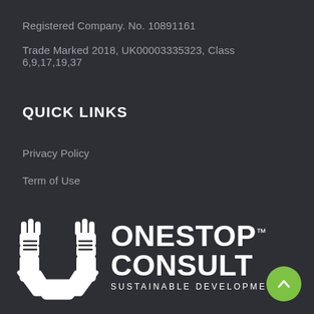Registered Company. No. 10891161
Trade Marked 2018, UK00003335323, Class 6,9,17,19,37
QUICK LINKS
Privacy Policy
Term of Use
Sitemap
[Figure (logo): One Stop Consult logo with handshake icon and text 'ONESTOP CONSULT SUSTAINABLE DEVELOPMENT' with TM mark, white on dark background, with green scroll-to-top button]